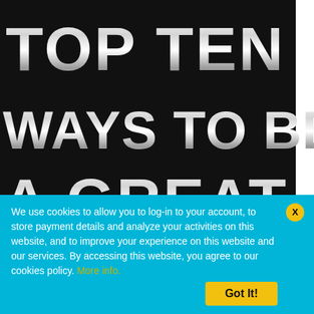[Figure (illustration): Book cover with black background. Large silver/white metallic bold text reads 'TOP TEN WAYS TO BE A GREAT' on black background, then a red band with large silver/white metallic bold text reading 'LEADER'. A vertical tab on the right side reads 'Leave a message'.]
We use cookies to allow you to log-in to your account, to store payment details and analyze your activities on this website, and to improve your experience on this website and our services. By accessing this website, you agree to our cookies policy. More info.
Got It!